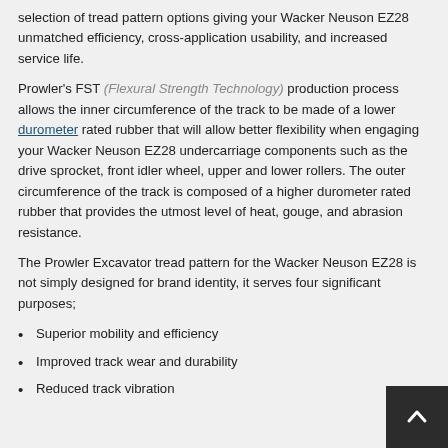selection of tread pattern options giving your Wacker Neuson EZ28 unmatched efficiency, cross-application usability, and increased service life.
Prowler's FST (Flexural Strength Technology) production process allows the inner circumference of the track to be made of a lower durometer rated rubber that will allow better flexibility when engaging your Wacker Neuson EZ28 undercarriage components such as the drive sprocket, front idler wheel, upper and lower rollers. The outer circumference of the track is composed of a higher durometer rated rubber that provides the utmost level of heat, gouge, and abrasion resistance.
The Prowler Excavator tread pattern for the Wacker Neuson EZ28 is not simply designed for brand identity, it serves four significant purposes;
Superior mobility and efficiency
Improved track wear and durability
Reduced track vibration